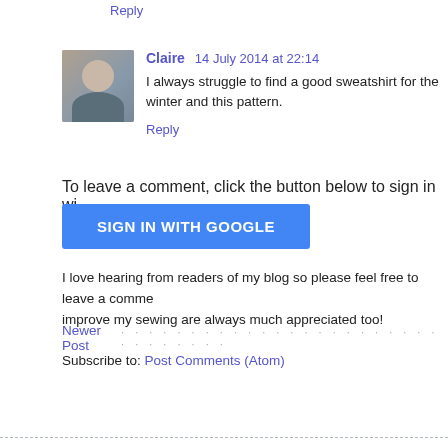Reply
Claire  14 July 2014 at 22:14
I always struggle to find a good sweatshirt for the winter and this pattern.
Reply
To leave a comment, click the button below to sign in wi
SIGN IN WITH GOOGLE
I love hearing from readers of my blog so please feel free to leave a comme improve my sewing are always much appreciated too!
Newer Post
Subscribe to: Post Comments (Atom)